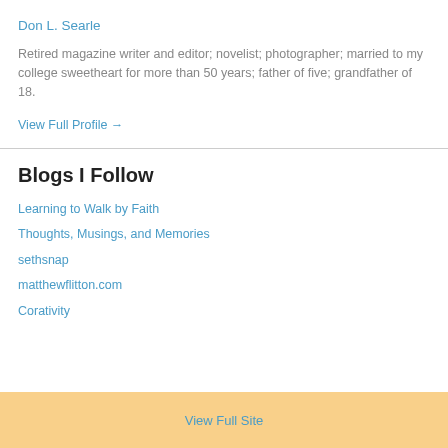Don L. Searle
Retired magazine writer and editor; novelist; photographer; married to my college sweetheart for more than 50 years; father of five; grandfather of 18.
View Full Profile →
Blogs I Follow
Learning to Walk by Faith
Thoughts, Musings, and Memories
sethsnap
matthewflitton.com
Corativity
View Full Site